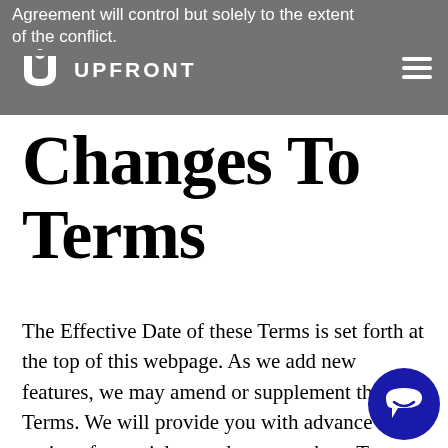Agreement will control but solely to the extent of the conflict.
[Figure (logo): UPFRONT logo with stylized U icon in white on grey background, and hamburger menu icon on the right]
Changes To Terms
The Effective Date of these Terms is set forth at the top of this webpage. As we add new features, we may amend or supplement these Terms. We will provide you with advance notice of material amendments to these Terms. We will not make amendments that have a retroactive effect unless we are legally required